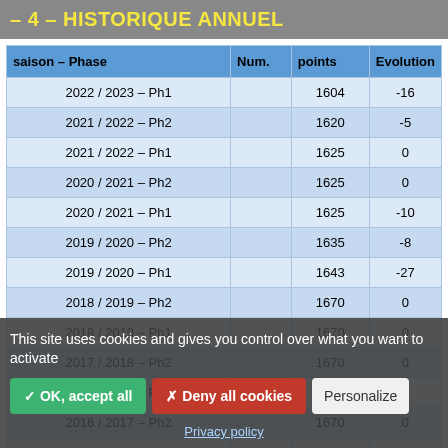– 4 – HISTORIQUE ANNUEL
| saison – Phase | Num. | points | Evolution |
| --- | --- | --- | --- |
| 2022 / 2023 – Ph1 |  | 1604 | -16 |
| 2021 / 2022 – Ph2 |  | 1620 | -5 |
| 2021 / 2022 – Ph1 |  | 1625 | 0 |
| 2020 / 2021 – Ph2 |  | 1625 | 0 |
| 2020 / 2021 – Ph1 |  | 1625 | -10 |
| 2019 / 2020 – Ph2 |  | 1635 | -8 |
| 2019 / 2020 – Ph1 |  | 1643 | -27 |
| 2018 / 2019 – Ph2 |  | 1670 | 0 |
| 2018 / 2019 – Ph1 |  | 1670 | 0 |
| 2017 / 2018 – Ph2 |  | 1670 | 0 |
| 2017 / 2018 – Ph1 |  | 1670 | 0 |
| 2016 / 2017 – Ph2 |  | 1670 | 0 |
| 2016 / 2017 – Ph1 |  | 1670 | 0 |
| 2015 / 2016 – Ph2 |  | 1670 | 0 |
| 2015 / 2016 – Ph1 |  | 1670 | 0 |
| 2014 / 2015 – Ph2 |  | 1670 | 0 |
| 2014 / 2015 – Ph1 |  | 1670 | 0 |
This site uses cookies and gives you control over what you want to activate
✓ OK, accept all   ✗ Deny all cookies   Personalize
Privacy policy